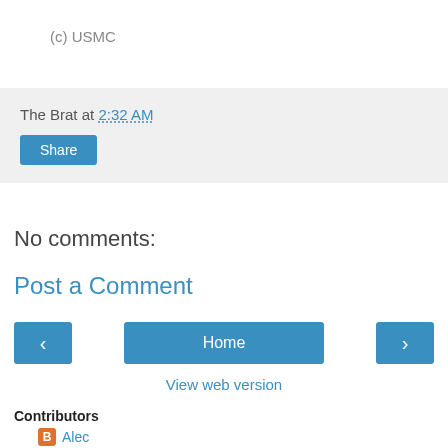(c) USMC
The Brat at 2:32 AM
Share
No comments:
Post a Comment
< Home >
View web version
Contributors
Alec
The Brat